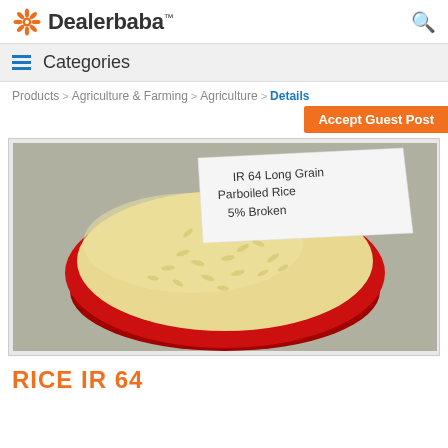Dealerbaba™
≡  Categories
Products > Agriculture & Farming > Agriculture > Details
Accept Guest Post
[Figure (photo): A bowl of IR 64 Long Grain Parboiled Rice 5% Broken with a handwritten label on white paper]
RICE IR 64